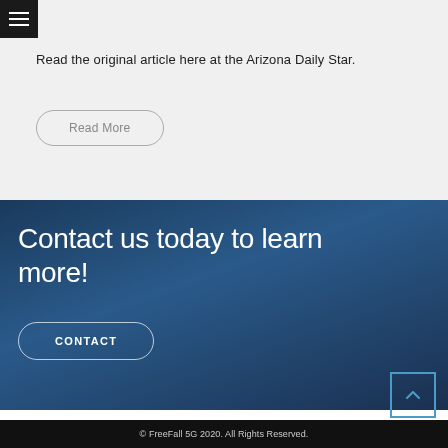Read the original article here at the Arizona Daily Star.
Read More
Contact us today to learn more!
CONTACT
© FreeFall 5G 2020. All Rights Reserved.